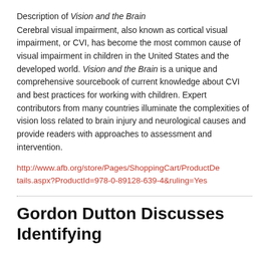Description of Vision and the Brain
Cerebral visual impairment, also known as cortical visual impairment, or CVI, has become the most common cause of visual impairment in children in the United States and the developed world. Vision and the Brain is a unique and comprehensive sourcebook of current knowledge about CVI and best practices for working with children. Expert contributors from many countries illuminate the complexities of vision loss related to brain injury and neurological causes and provide readers with approaches to assessment and intervention.
http://www.afb.org/store/Pages/ShoppingCart/ProductDetails.aspx?ProductId=978-0-89128-639-4&ruling=Yes
Gordon Dutton Discusses Identifying